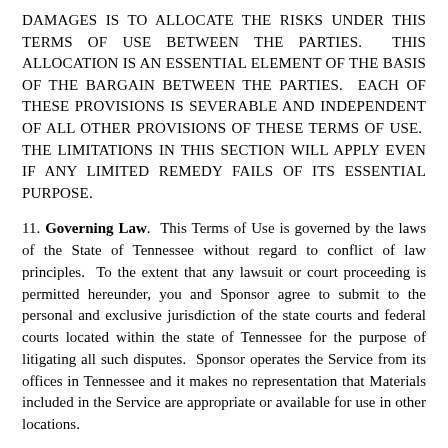DAMAGES IS TO ALLOCATE THE RISKS UNDER THIS TERMS OF USE BETWEEN THE PARTIES.  THIS ALLOCATION IS AN ESSENTIAL ELEMENT OF THE BASIS OF THE BARGAIN BETWEEN THE PARTIES.  EACH OF THESE PROVISIONS IS SEVERABLE AND INDEPENDENT OF ALL OTHER PROVISIONS OF THESE TERMS OF USE.  THE LIMITATIONS IN THIS SECTION WILL APPLY EVEN IF ANY LIMITED REMEDY FAILS OF ITS ESSENTIAL PURPOSE.
11. Governing Law.  This Terms of Use is governed by the laws of the State of Tennessee without regard to conflict of law principles.  To the extent that any lawsuit or court proceeding is permitted hereunder, you and Sponsor agree to submit to the personal and exclusive jurisdiction of the state courts and federal courts located within the state of Tennessee for the purpose of litigating all such disputes.  Sponsor operates the Service from its offices in Tennessee and it makes no representation that Materials included in the Service are appropriate or available for use in other locations.
12. General.  This Terms of Use, together with the Privacy Policy and any other agreements expressly incorporated by reference, constitute the entire and exclusive understanding and agreement between you and Sponsor regarding your use of and access to the Service, and except as expressly permitted above may be amended